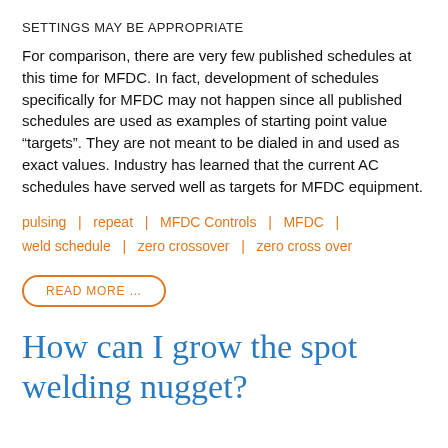SETTINGS MAY BE APPROPRIATE
For comparison, there are very few published schedules at this time for MFDC. In fact, development of schedules specifically for MFDC may not happen since all published schedules are used as examples of starting point value “targets”. They are not meant to be dialed in and used as exact values. Industry has learned that the current AC schedules have served well as targets for MFDC equipment.
pulsing  |  repeat  |  MFDC Controls  |  MFDC  |  weld schedule  |  zero crossover  |  zero cross over
READ MORE …
How can I grow the spot welding nugget?